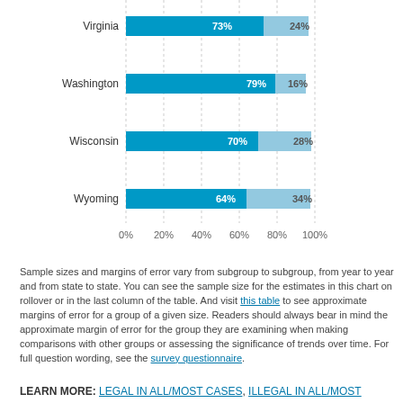[Figure (stacked-bar-chart): State results for abortion views]
Sample sizes and margins of error vary from subgroup to subgroup, from year to year and from state to state. You can see the sample size for the estimates in this chart on rollover or in the last column of the table. And visit this table to see approximate margins of error for a group of a given size. Readers should always bear in mind the approximate margin of error for the group they are examining when making comparisons with other groups or assessing the significance of trends over time. For full question wording, see the survey questionnaire.
LEARN MORE: LEGAL IN ALL/MOST CASES, ILLEGAL IN ALL/MOST